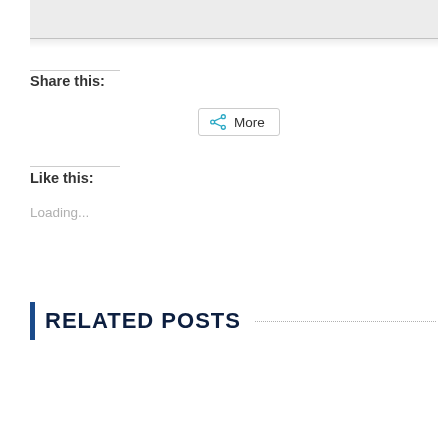[Figure (screenshot): Gray content box at the top of the page, partially visible]
Share this:
[Figure (infographic): More share button with share icon]
Like this:
Loading...
RELATED POSTS